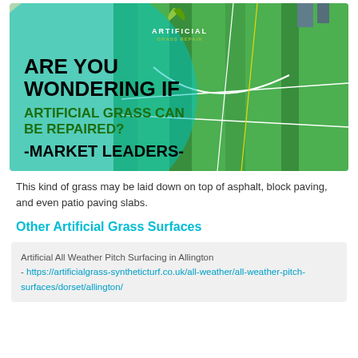[Figure (photo): Promotional banner for artificial grass repair service. Shows a large artificial sports pitch (green turf with white and yellow lines) on the right. On the left, a teal/cyan circular overlay contains bold text: 'ARE YOU WONDERING IF' in black, 'ARTIFICIAL GRASS CAN BE REPAIRED?' in dark green, and '-MARKET LEADERS-' in black. An 'Artificial' logo with a green leaf icon appears at the top center.]
This kind of grass may be laid down on top of asphalt, block paving, and even patio paving slabs.
Other Artificial Grass Surfaces
Artificial All Weather Pitch Surfacing in Allington - https://artificialgrass-syntheticturf.co.uk/all-weather/all-weather-pitch-surfaces/dorset/allington/